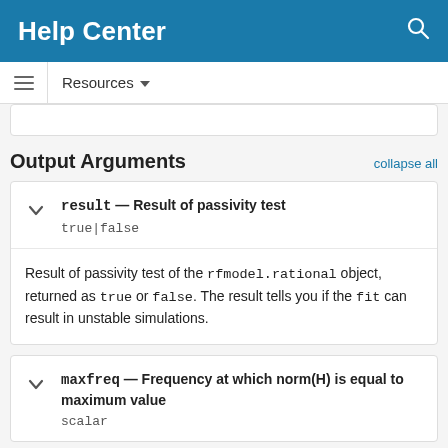Help Center
Output Arguments
result — Result of passivity test
true|false
Result of passivity test of the rfmodel.rational object, returned as true or false. The result tells you if the fit can result in unstable simulations.
maxfreq — Frequency at which norm(H) is equal to maximum value
scalar